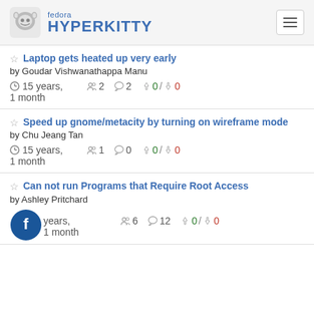fedora HYPERKITTY
Laptop gets heated up very early
by Goudar Vishwanathappa Manu
15 years, 1 month  👤2  💬2  👍0 / 👎0
Speed up gnome/metacity by turning on wireframe mode
by Chu Jeang Tan
15 years, 1 month  👤1  💬0  👍0 / 👎0
Can not run Programs that Require Root Access
by Ashley Pritchard
15 years, 1 month  👤6  💬12  👍0 / 👎0